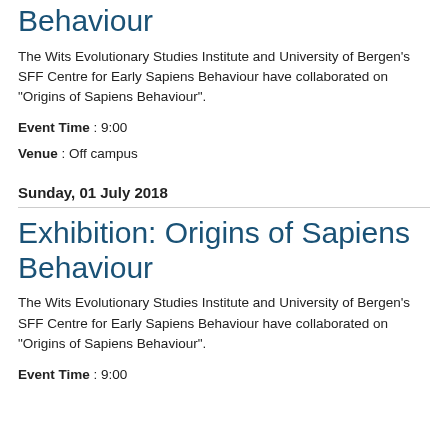Behaviour
The Wits Evolutionary Studies Institute and University of Bergen's SFF Centre for Early Sapiens Behaviour have collaborated on "Origins of Sapiens Behaviour".
Event Time : 9:00
Venue : Off campus
Sunday, 01 July 2018
Exhibition: Origins of Sapiens Behaviour
The Wits Evolutionary Studies Institute and University of Bergen's SFF Centre for Early Sapiens Behaviour have collaborated on "Origins of Sapiens Behaviour".
Event Time : 9:00